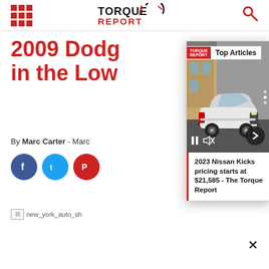Torque Report — navigation header with grid icon, logo, and search icon
2009 Dodge ... in the Low...
By Marc Carter - March...
[Figure (screenshot): Top Articles popup overlay showing a 2023 Nissan Kicks SUV with video playback controls and article title '2023 Nissan Kicks pricing starts at $21,585 - The Torque Report']
2023 Nissan Kicks pricing starts at $21,585 - The Torque Report
[Figure (photo): Broken image placeholder: new_york_auto_sh...]